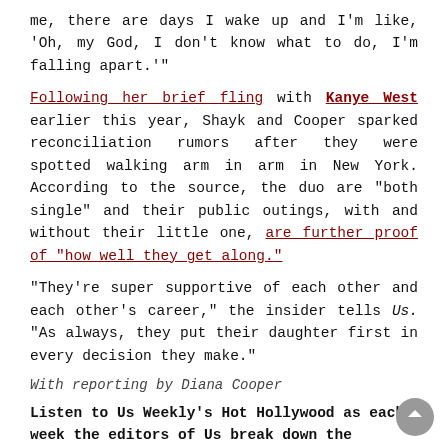me, there are days I wake up and I'm like, 'Oh, my God, I don't know what to do, I'm falling apart.'"
Following her brief fling with Kanye West earlier this year, Shayk and Cooper sparked reconciliation rumors after they were spotted walking arm in arm in New York. According to the source, the duo are "both single" and their public outings, with and without their little one, are further proof of "how well they get along."
"They're super supportive of each other and each other's career," the insider tells Us. "As always, they put their daughter first in every decision they make."
With reporting by Diana Cooper
Listen to Us Weekly's Hot Hollywood as each week the editors of Us break down the hottest entertainment news stories!
Listen on Google Play Music